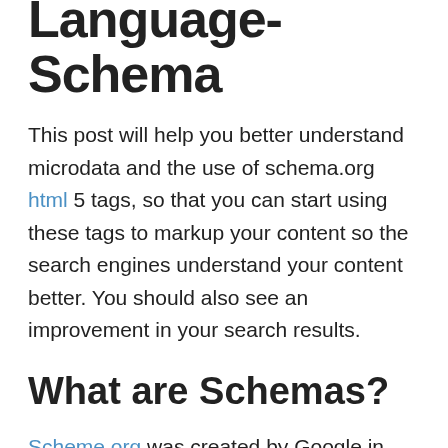Language-Schema
This post will help you better understand microdata and the use of schema.org html 5 tags, so that you can start using these tags to markup your content so the search engines understand your content better. You should also see an improvement in your search results.
What are Schemas?
Scheme.org was created by Google in order to fine tune search results by creating Schemas (HTML Tags) which webmasters use to markup (wrap html text with) their content better in a language the search engines understand.